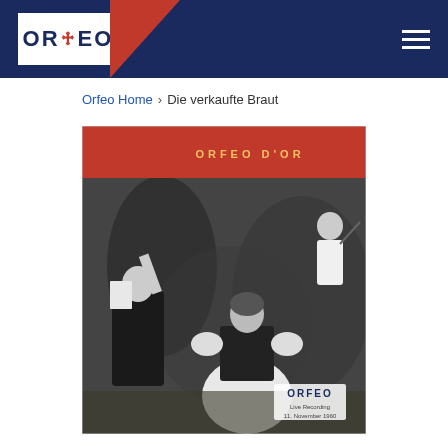ORFEO (logo) — navigation header with hamburger menu
Orfeo Home › Die verkaufte Braut
[Figure (photo): Album cover for Smetana Die Verkaufte Braut on Orfeo D'Or label, Wiener Staatsoper Live, featuring Seefried · Kmentt · Czerwenka, Dickie · Anday · Konetzni, conducted by Berislav Klobučar. Live Recording 11. November 1960. Black and white photo of opera performers on stage, with red header bar and gold/white text.]